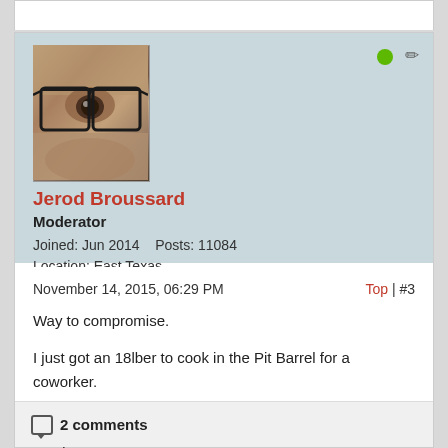[Figure (photo): Close-up profile photo of a person wearing eyeglasses]
Jerod Broussard
Moderator
Joined: Jun 2014    Posts: 11084
Location: East Texas
November 14, 2015, 06:29 PM
Top | #3
Way to compromise.

I just got an 18lber to cook in the Pit Barrel for a coworker.

May have some more to cook come Thanksgiving. Good thing I am off that week.
2 comments